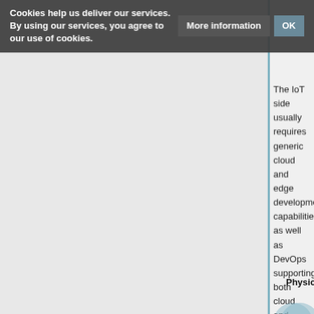Cookies help us deliver our services. By using our services, you agree to our use of cookies.
The IoT side usually requires generic cloud and edge development capabilities, as well as DevOps supporting both cloud and edge (which usually means support for OTA, or Over-the-Air-Updates of software deployed to assets in the field).
The third key element is the physical product or asset. For the Digital OEM, it will be vital to manage the combination of physical and digital features and their individual life cycles. For the physical product, this will also need to include manufacturing, as well as field support services.
Physical Product   IoT